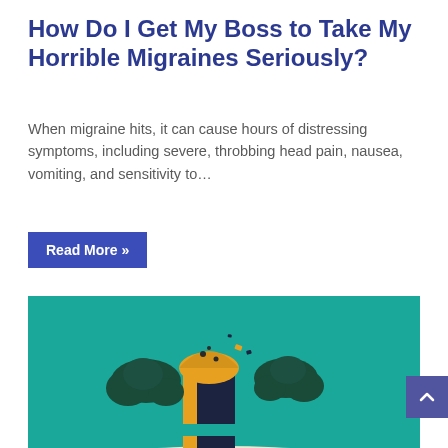How Do I Get My Boss to Take My Horrible Migraines Seriously?
When migraine hits, it can cause hours of distressing symptoms, including severe, throbbing head pain, nausea, vomiting, and sensitivity to…
Read More »
[Figure (illustration): Colorful flat illustration showing a large industrial-style cork or stopper shape with dark smoke clouds billowing from it, on a teal/turquoise background, with a cream-colored wavy ground and small figures/objects at the bottom. Represents a migraine or pressure concept.]